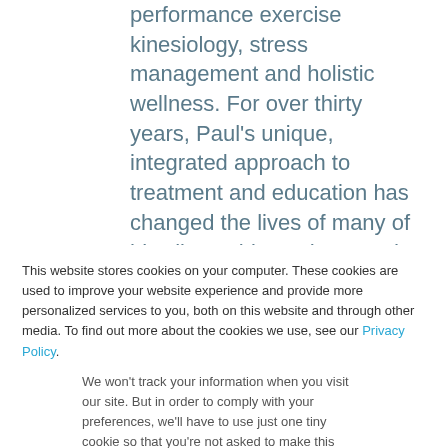performance exercise kinesiology, stress management and holistic wellness. For over thirty years, Paul's unique, integrated approach to treatment and education has changed the lives of many of his clients, his students and their clients. By treating the body as a whole system and finding the root cause of a problem, Paul has been successful where traditional approaches have consistently failed. Paul is the founder of the CHEK (Corrective Holistic Exercise...
This website stores cookies on your computer. These cookies are used to improve your website experience and provide more personalized services to you, both on this website and through other media. To find out more about the cookies we use, see our Privacy Policy.
We won't track your information when you visit our site. But in order to comply with your preferences, we'll have to use just one tiny cookie so that you're not asked to make this choice again.